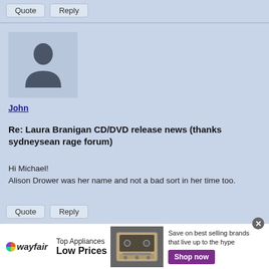Quote   Reply
[Figure (illustration): Default user avatar: silhouette of a person (head and shoulders) in dark grey on a light blue-grey background square]
John
Re: Laura Branigan CD/DVD release news (thanks sydneysean rage forum)
Hi Michael!
Alison Drower was her name and not a bad sort in her time too.
Quote   Reply
[Figure (screenshot): Wayfair advertisement banner: Top Appliances Low Prices, image of a stove/range, Save on best selling brands that live up to the hype, Shop now button]